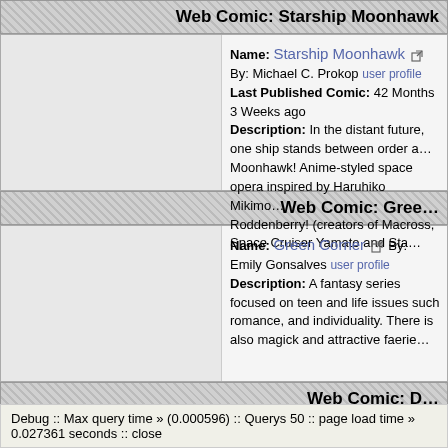Web Comic: Starship Moonhawk
Name: Starship Moonhawk - [ext] By: Michael C. Prokop user profile
Last Published Comic: 42 Months 3 Weeks ago
Description: In the distant future, one ship stands between order and chaos — the Starship Moonhawk! Anime-styled space opera inspired by Haruhiko Mikimoto and Gene Roddenberry! (creators of Macross, Space Cruiser Yamato and Star Trek)
Web Comic: Green Corner
Name: Green Corner - [ext] By: Emily Gonsalves user profile
Description: A fantasy series focused on teen and life issues such as romance, and individuality. There is also magick and attractive faeries.
Web Comic: Darken
Name: Darken - [ext] By: Kojiro
Last Published Comic: 142 Months 3 Days ago
Description: Fantasy adventure, with a twist of humour, following the villain and his `minions` in their rather sinister quest to dominate the world and/or money.
Debug :: Max query time » (0.000596) :: Querys 50 :: page load time » 0.027361 seconds :: close